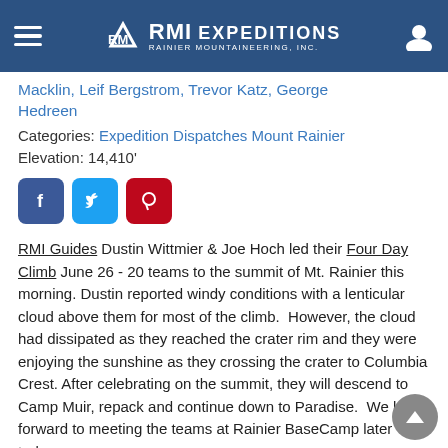RMI EXPEDITIONS — RAINIER MOUNTAINEERING, INC.
Macklin, Leif Bergstrom, Trevor Katz, George Hedreen
Categories: Expedition Dispatches Mount Rainier
Elevation: 14,410'
[Figure (other): Social media share buttons: Facebook, Twitter, Pinterest]
RMI Guides Dustin Wittmier & Joe Hoch led their Four Day Climb June 26 - 20 teams to the summit of Mt. Rainier this morning. Dustin reported windy conditions with a lenticular cloud above them for most of the climb.  However, the cloud had dissipated as they reached the crater rim and they were enjoying the sunshine as they crossing the crater to Columbia Crest. After celebrating on the summit, they will descend to Camp Muir, repack and continue down to Paradise.  We look forward to meeting the teams at Rainier BaseCamp later today.